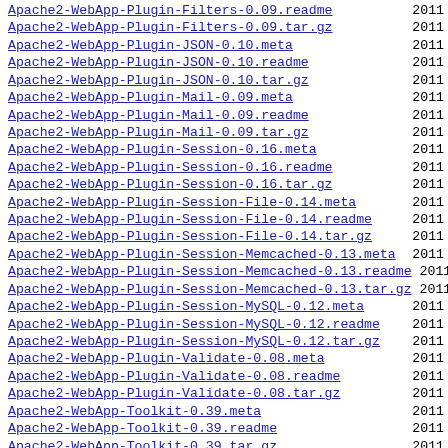Apache2-WebApp-Plugin-Filters-0.09.readme  2011
Apache2-WebApp-Plugin-Filters-0.09.tar.gz  2011
Apache2-WebApp-Plugin-JSON-0.10.meta  2011
Apache2-WebApp-Plugin-JSON-0.10.readme  2011
Apache2-WebApp-Plugin-JSON-0.10.tar.gz  2011
Apache2-WebApp-Plugin-Mail-0.09.meta  2011
Apache2-WebApp-Plugin-Mail-0.09.readme  2011
Apache2-WebApp-Plugin-Mail-0.09.tar.gz  2011
Apache2-WebApp-Plugin-Session-0.16.meta  2011
Apache2-WebApp-Plugin-Session-0.16.readme  2011
Apache2-WebApp-Plugin-Session-0.16.tar.gz  2011
Apache2-WebApp-Plugin-Session-File-0.14.meta  2011
Apache2-WebApp-Plugin-Session-File-0.14.readme  2011
Apache2-WebApp-Plugin-Session-File-0.14.tar.gz  2011
Apache2-WebApp-Plugin-Session-Memcached-0.13.meta  2011
Apache2-WebApp-Plugin-Session-Memcached-0.13.readme  2011
Apache2-WebApp-Plugin-Session-Memcached-0.13.tar.gz  2011
Apache2-WebApp-Plugin-Session-MySQL-0.12.meta  2011
Apache2-WebApp-Plugin-Session-MySQL-0.12.readme  2011
Apache2-WebApp-Plugin-Session-MySQL-0.12.tar.gz  2011
Apache2-WebApp-Plugin-Validate-0.08.meta  2011
Apache2-WebApp-Plugin-Validate-0.08.readme  2011
Apache2-WebApp-Plugin-Validate-0.08.tar.gz  2011
Apache2-WebApp-Toolkit-0.39.meta  2011
Apache2-WebApp-Toolkit-0.39.readme  2011
Apache2-WebApp-Toolkit-0.39.tar.gz  2011
Apache2-WebApp-Toolkit-0.391.meta  2014
Apache2-WebApp-Toolkit-0.391.readme  2014
Apache2-WebApp-Toolkit-0.391.tar.gz  2014
CHECKSUMS  2022